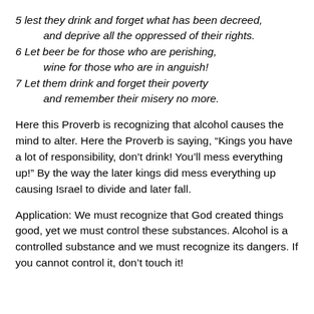5 lest they drink and forget what has been decreed, and deprive all the oppressed of their rights. 6 Let beer be for those who are perishing, wine for those who are in anguish! 7 Let them drink and forget their poverty and remember their misery no more.
Here this Proverb is recognizing that alcohol causes the mind to alter. Here the Proverb is saying, “Kings you have a lot of responsibility, don’t drink! You’ll mess everything up!” By the way the later kings did mess everything up causing Israel to divide and later fall.
Application: We must recognize that God created things good, yet we must control these substances. Alcohol is a controlled substance and we must recognize its dangers. If you cannot control it, don’t touch it!